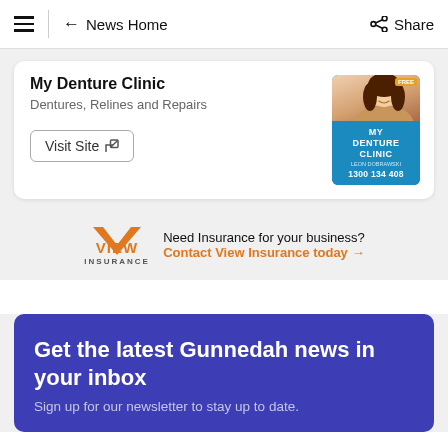≡ | ← News Home    Share
My Denture Clinic
Dentures, Relines and Repairs
Visit Site ↗
[Figure (photo): My Denture Clinic advertisement image showing a smiling woman and the text DENTURE CLINIC, LEON DOBRAWSKI, 1300 134 408]
Need Insurance for your business? Contact View Insurance today →
Get the latest Gunnedah news in your inbox
Sign up for our newsletter to stay up to date.